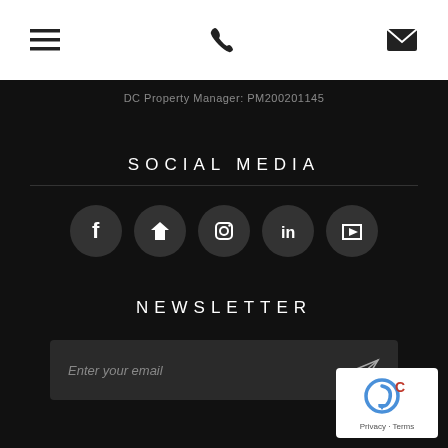Navigation bar with hamburger menu, phone icon, and email icon
DC Property Manager: PM200201145
SOCIAL MEDIA
[Figure (infographic): Five social media icon circles: Facebook, Zillow, Instagram, LinkedIn, YouTube]
NEWSLETTER
Enter your email
[Figure (other): reCAPTCHA badge with Privacy - Terms text]